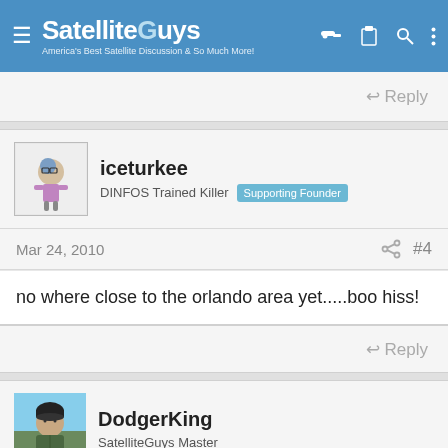SatelliteGuys — America's Best Satellite Discussion & So Much More!
Reply
iceturkee
DINFOS Trained Killer  Supporting Founder
Mar 24, 2010  #4
no where close to the orlando area yet.....boo hiss!
Reply
DodgerKing
SatelliteGuys Master
Mar 24, 2010  #5
What is the advantage of 4G vs 3G? How much better...